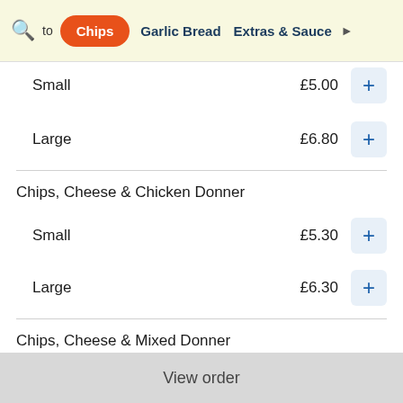Search | to | Chips | Garlic Bread | Extras & Sauce
Small  £5.00  +
Large  £6.80  +
Chips, Cheese & Chicken Donner
Small  £5.30  +
Large  £6.30  +
Chips, Cheese & Mixed Donner
Small  £5.30  +
View order